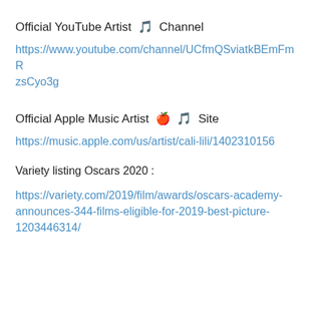Official YouTube Artist 🎵 Channel
https://www.youtube.com/channel/UCfmQSviatkBEmFmRzsCyo3g
Official Apple Music Artist 🍎 🎵 Site
https://music.apple.com/us/artist/cali-lili/1402310156
Variety listing Oscars 2020 :
https://variety.com/2019/film/awards/oscars-academy-announces-344-films-eligible-for-2019-best-picture-1203446314/